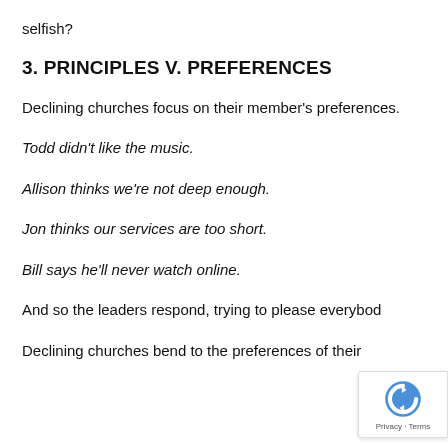selfish?
3. PRINCIPLES V. PREFERENCES
Declining churches focus on their member's preferences.
Todd didn't like the music.
Allison thinks we're not deep enough.
Jon thinks our services are too short.
Bill says he'll never watch online.
And so the leaders respond, trying to please everybod
Declining churches bend to the preferences of their